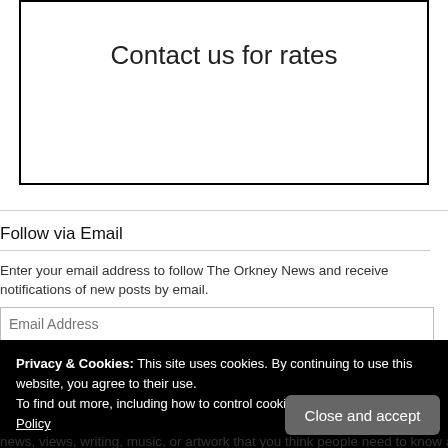[Figure (other): Advertisement box with border containing text 'Contact us for rates']
Follow via Email
Enter your email address to follow The Orkney News and receive notifications of new posts by email.
Privacy & Cookies: This site uses cookies. By continuing to use this website, you agree to their use.
To find out more, including how to control cookies, see here: Our Cookie Policy
Close and accept
news, views, writing, music, or artwork that you think people need to know about,